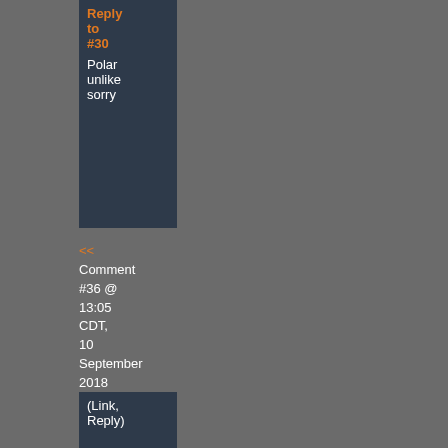Reply to #30
Polar unlike sorry
<< Comment #36 @ 13:05 CDT, 10 September 2018 >>
(Link, Reply)
By zkyp - Reply to #30
I would like to keep my
[Figure (illustration): Small avatar flag image for user zkyp]